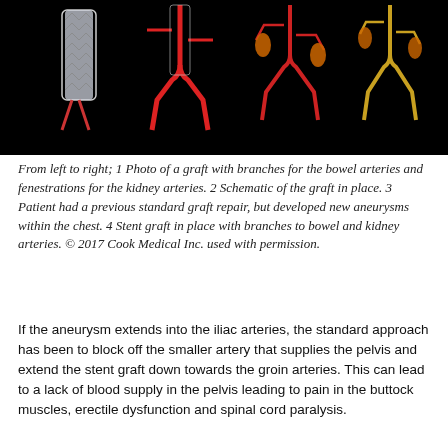[Figure (photo): Medical illustration on black background showing anatomical images of aortic grafts and stents from left to right: a braided graft with branches for bowel arteries and fenestrations for kidney arteries, a schematic of graft in place, a patient with previous standard graft repair with new aneurysms in the chest, and a stent graft in place with branches to bowel and kidney arteries.]
From left to right; 1 Photo of a graft with branches for the bowel arteries and fenestrations for the kidney arteries. 2 Schematic of the graft in place. 3 Patient had a previous standard graft repair, but developed new aneurysms within the chest. 4 Stent graft in place with branches to bowel and kidney arteries. © 2017 Cook Medical Inc. used with permission.
If the aneurysm extends into the iliac arteries, the standard approach has been to block off the smaller artery that supplies the pelvis and extend the stent graft down towards the groin arteries. This can lead to a lack of blood supply in the pelvis leading to pain in the buttock muscles, erectile dysfunction and spinal cord paralysis.